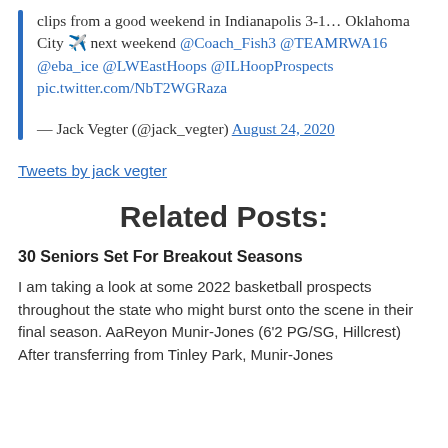clips from a good weekend in Indianapolis 3-1… Oklahoma City ✈️ next weekend @Coach_Fish3 @TEAMRWA16 @eba_ice @LWEastHoops @ILHoopProspects pic.twitter.com/NbT2WGRaza
— Jack Vegter (@jack_vegter) August 24, 2020
Tweets by jack vegter
Related Posts:
30 Seniors Set For Breakout Seasons
I am taking a look at some 2022 basketball prospects throughout the state who might burst onto the scene in their final season. AaReyon Munir-Jones (6'2 PG/SG, Hillcrest) After transferring from Tinley Park, Munir-Jones